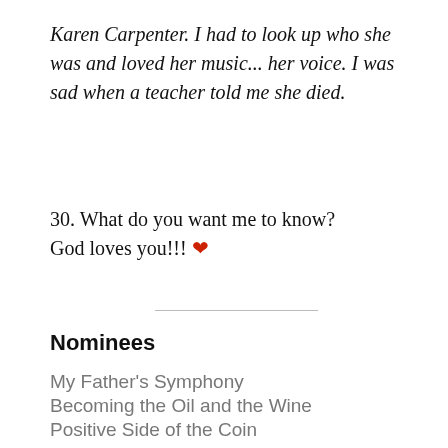Karen Carpenter. I had to look up who she was and loved her music... her voice. I was sad when a teacher told me she died.
30. What do you want me to know?
God loves you!!! ❤
Nominees
My Father's Symphony
Becoming the Oil and the Wine
Positive Side of the Coin
When an Introvert Speaks